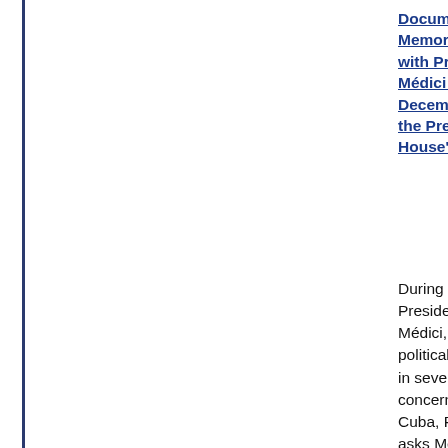Document 1: White House Memorandum, Top Secret, with President Emilio Médici of Brazil on The December 9, 1971, at the President's Office House", December 9
During this meeting, President Nixon and Médici, the two discussed political and economic situations in several nations of concern, among them Cuba, Peru, and Brazil. Nixon asks Médici whether a Chilean military coup against President Salvador Allende. Médici responds that Allende will be overthrown very much the same way Goulart had been overthrown in Brazil," and "made clear that Brazil was working to that end." Nixon stresses that it was very important than